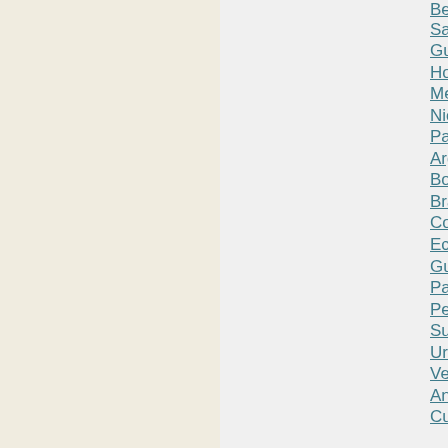Belize, Costa Rica, El Salvador, Guatemala, Honduras, Mexico, Nicaragua, Panama, Argentina, Bolivia, Brazil, Chile, Colombia, Ecuador, Guyana, Paraguay, Peru, Suriname, Uruguay, Venezuela, Antigua and Barbuda, Cuba,